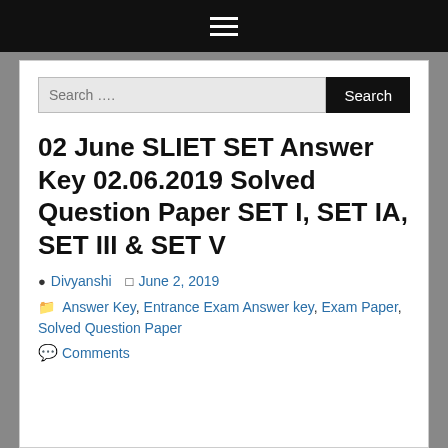☰ (hamburger menu)
02 June SLIET SET Answer Key 02.06.2019 Solved Question Paper SET I, SET IA, SET III & SET V
Divyanshi  June 2, 2019
Answer Key, Entrance Exam Answer key, Exam Paper, Solved Question Paper
Comments